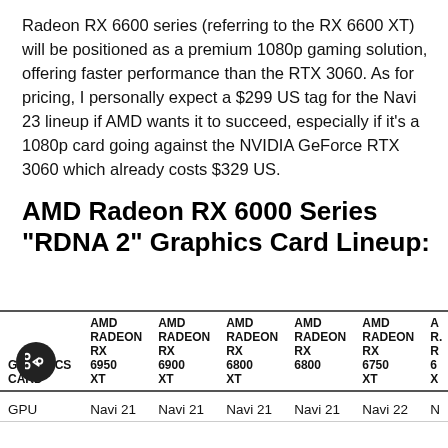Radeon RX 6600 series (referring to the RX 6600 XT) will be positioned as a premium 1080p gaming solution, offering faster performance than the RTX 3060. As for pricing, I personally expect a $299 US tag for the Navi 23 lineup if AMD wants it to succeed, especially if it's a 1080p card going against the NVIDIA GeForce RTX 3060 which already costs $329 US.
AMD Radeon RX 6000 Series "RDNA 2" Graphics Card Lineup:
| GRAPHICS CARD | AMD RADEON RX 6950 XT | AMD RADEON RX 6900 XT | AMD RADEON RX 6800 XT | AMD RADEON RX 6800 | AMD RADEON RX 6750 XT | A... R... |
| --- | --- | --- | --- | --- | --- | --- |
| GPU | Navi 21 | Navi 21 | Navi 21 | Navi 21 | Navi 22 | N... |